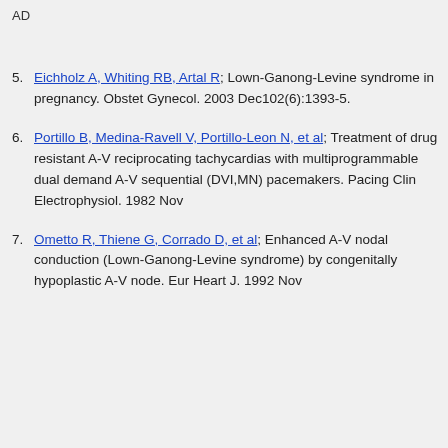AD
5. Eichholz A, Whiting RB, Artal R; Lown-Ganong-Levine syndrome in pregnancy. Obstet Gynecol. 2003 Dec102(6):1393-5.
6. Portillo B, Medina-Ravell V, Portillo-Leon N, et al; Treatment of drug resistant A-V reciprocating tachycardias with multiprogrammable dual demand A-V sequential (DVI,MN) pacemakers. Pacing Clin Electrophysiol. 1982 Nov
7. Ometto R, Thiene G, Corrado D, et al; Enhanced A-V nodal conduction (Lown-Ganong-Levine syndrome) by congenitally hypoplastic A-V node. Eur Heart J. 1992 Nov